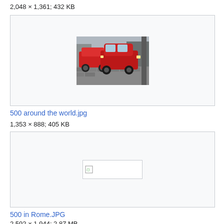2,048 × 1,361; 432 KB
[Figure (photo): Two red Fiat 500 cars parked on a cobblestone street]
500 around the world.jpg
1,353 × 888; 405 KB
[Figure (photo): Broken image placeholder]
500 in Rome.JPG
2,592 × 1,944; 2.87 MB